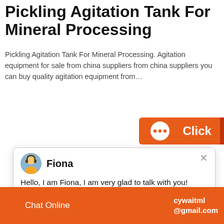Pickling Agitation Tank For Mineral Processing
Pickling Agitation Tank For Mineral Processing. Agitation equipment for sale from china suppliers from china suppliers you can buy quality agitation equipment from…
[Figure (screenshot): Orange 'Click' button with chat bubble icon]
[Figure (screenshot): Chat popup with avatar of Fiona, name 'Fiona', message 'Hello, I am Fiona, I am very glad to talk with you!' and close X button]
[Figure (photo): Excavator and construction/mining site photo on left. Person on right side with number badge '1', 'Click to chat' button, and 'Enquiry' label.]
Chat Online   cywaitml @gmail.com